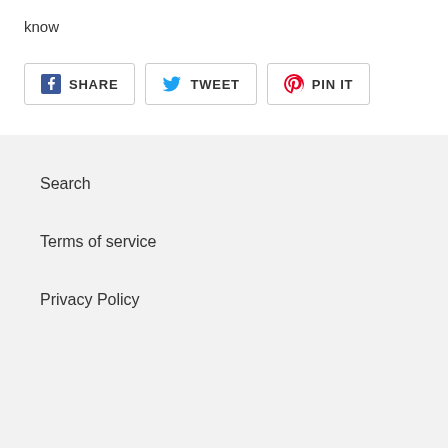know
[Figure (infographic): Social share buttons: Facebook SHARE, Twitter TWEET, Pinterest PIN IT]
Search
Terms of service
Privacy Policy